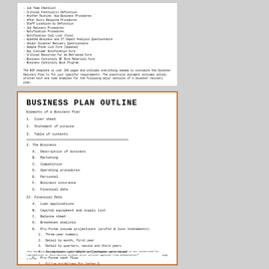- Job Team Checklist
- Critical Function(s) Definition
- Another Routine: How Business Procedures
- After Hours Response Procedures
- Staff Locations by Definition
- Job Recovery Procedures
- Notification Procedures
- Notification Call List (Form)
- Updated Business and IT Impact Analysis Questionnaire
- Vendor Disaster Recovery Questionnaire
- Sample Phone List Form (Updated)
- Key Customer Notification Form
- Critical Resources for be Retrieved Form
- Business Continuity BF Risk Materials Form
- Business Continuity Book Program

The BCP template is over 200 pages and includes everything needed to customize the Disaster Recovery Plan to fit your specific requirements. The electronic document includes actual written text and time examples for the following major sections of a disaster recovery plan:

- Plan Introduction
- Business Impact Analysis - including a sample impact matrix
- BCP Organizational Responsibilities pre and post disaster - (BCP / BCP playroll)
- Backup Strategy for Data Centers, Departmental for Servers, Wireless Network servers, Data at Outsourced Sites, Desktops (at office and "at home"), Laptops and PDAs
- Recovery Strategy including approach, escalation plan priority and affected plans
- Disaster Recovery Procedures in a check list format
BUSINESS PLAN OUTLINE
Elements of a Business Plan
1. Cover sheet
2. Statement of purpose
3. Table of contents
I. The Business
A. Description of business
B. Marketing
C. Competition
D. Operating procedures
E. Personnel
F. Business insurance
G. Financial data
II. Financial Data
A. Loan applications
B. Capital equipment and supply list
C. Balance sheet
D. Breakeven analysis
E. Pro-forma income projections (profit & loss statements)
1. Three-year summary
2. Detail by month, first year
3. Detail by quarters, second and third years
4. Assumptions upon which projections were based
F. Pro-forma cash flow
1. Follow guidelines for letter E.
This material is the property of GlobalSolver™ Management Services and is not authorized for reproduction or distribution without prior written approval from GlobalSolver™
Page 1 of 30